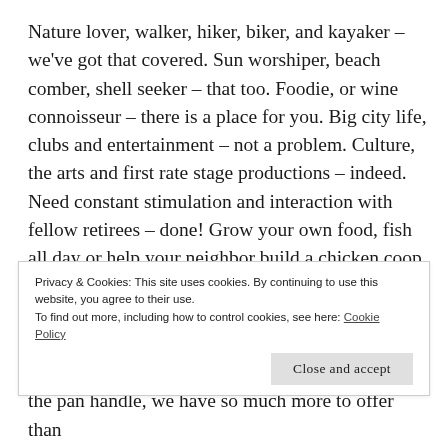Nature lover, walker, hiker, biker, and kayaker – we've got that covered. Sun worshiper, beach comber, shell seeker – that too. Foodie, or wine connoisseur – there is a place for you. Big city life, clubs and entertainment – not a problem. Culture, the arts and first rate stage productions – indeed. Need constant stimulation and interaction with fellow retirees – done! Grow your own food, fish all day or help your neighbor build a chicken coop – that too. Live completely alone in the middle of
Privacy & Cookies: This site uses cookies. By continuing to use this website, you agree to their use. To find out more, including how to control cookies, see here: Cookie Policy
the pan handle, we have so much more to offer than